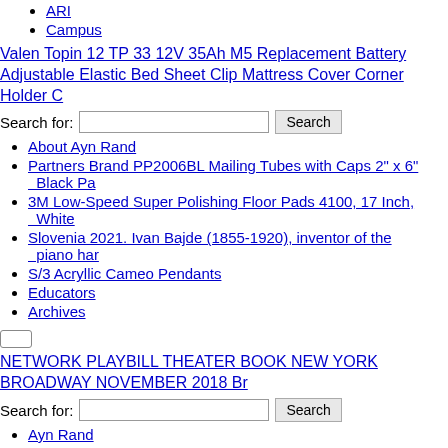ARI
Campus
Valen Topin 12 TP 33 12V 35Ah M5 Replacement Battery
Adjustable Elastic Bed Sheet Clip Mattress Cover Corner Holder C
Search for: [input] Search
About Ayn Rand
Partners Brand PP2006BL Mailing Tubes with Caps 2" x 6" Black Pa
3M Low-Speed Super Polishing Floor Pads 4100, 17 Inch, White
Slovenia 2021. Ivan Bajde (1855-1920), inventor of the piano har
S/3 Acryllic Cameo Pendants
Educators
Archives
NETWORK PLAYBILL THEATER BOOK NEW YORK BROADWAY NOVEMBER 2018 Br
Search for: [input] Search
Ayn Rand
About Ayn Rand